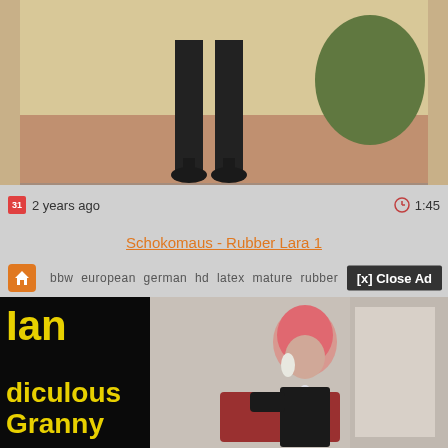[Figure (screenshot): Video thumbnail showing lower body of person in black outfit and heels standing on terracotta/pink ground]
2 years ago
1:45
Schokomaus - Rubber Lara 1
[x] Close Ad
bbw  european  german  hd  latex  mature  rubber
[Figure (screenshot): Ad panel with yellow text on black background: 'Ian' and 'diculous Granny', beside preview image of woman with pink/red hair in black latex outfit]